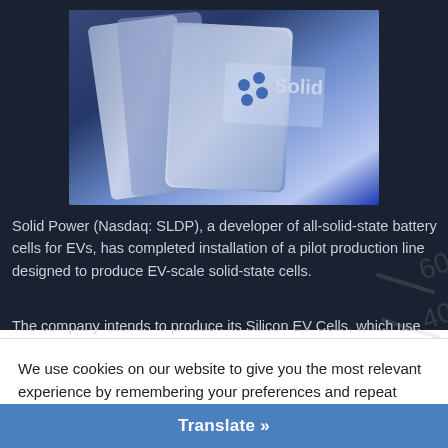[Figure (photo): Close-up photo of a metallic solid-state battery cell with 'Solid' branding and blue dot logo on a dark blue background.]
Solid Power (Nasdaq: SLDP), a developer of all-solid-state battery cells for EVs, has completed installation of a pilot production line designed to produce EV-scale solid-state cells.
The company intends to produce its Silicon EV Cells, which use over
We use cookies on our website to give you the most relevant experience by remembering your preferences and repeat visits. By clicking “Accept”, you consent to the use of ALL the cookies.
Do not sell my personal information.
Cookie Settings
Accept
Translate »